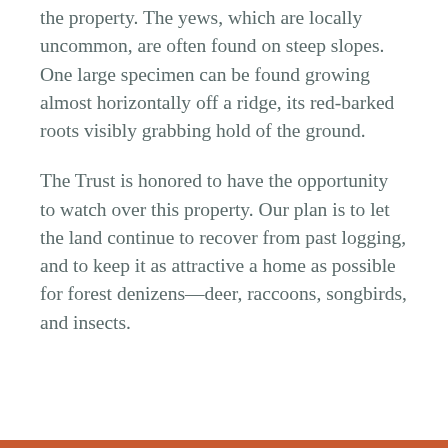the property. The yews, which are locally uncommon, are often found on steep slopes. One large specimen can be found growing almost horizontally off a ridge, its red-barked roots visibly grabbing hold of the ground.
The Trust is honored to have the opportunity to watch over this property. Our plan is to let the land continue to recover from past logging, and to keep it as attractive a home as possible for forest denizens—deer, raccoons, songbirds, and insects.